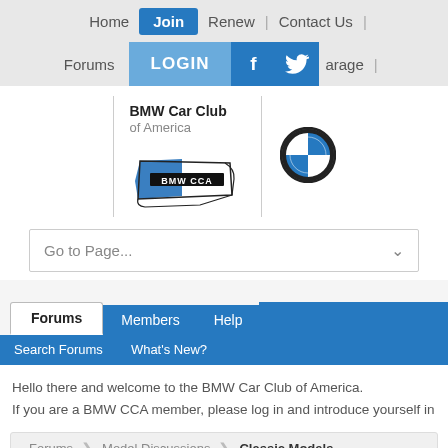Home | Join | Renew | Contact Us |
Forums | LOGIN | f | (twitter) | arage |
[Figure (logo): BMW Car Club of America logo with USA map and BMW roundel]
Go to Page...
Forums | Members | Help
Search Forums | What's New?
Hello there and welcome to the BMW Car Club of America.
If you are a BMW CCA member, please log in and introduce yourself in
Forums | Model Discussions | Classic Models